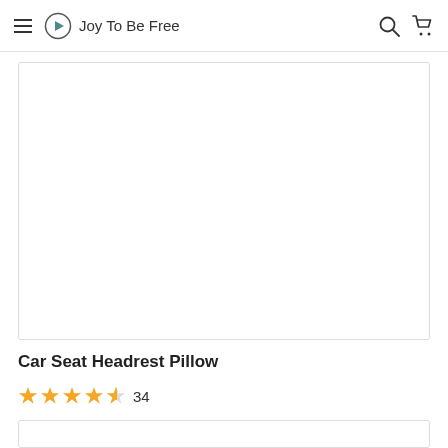Joy To Be Free
[Figure (photo): Product image area — Car Seat Headrest Pillow (white/empty placeholder)]
Car Seat Headrest Pillow
★★★★½ 34
[Figure (photo): Bottom product image area (partially visible)]